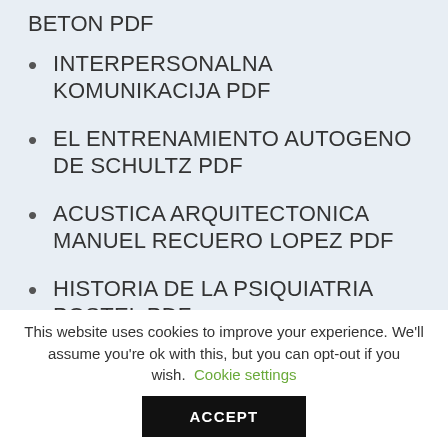BETON PDF
INTERPERSONALNA KOMUNIKACIJA PDF
EL ENTRENAMIENTO AUTOGENO DE SCHULTZ PDF
ACUSTICA ARQUITECTONICA MANUEL RECUERO LOPEZ PDF
HISTORIA DE LA PSIQUIATRIA POSTEL PDF
This website uses cookies to improve your experience. We'll assume you're ok with this, but you can opt-out if you wish. Cookie settings
ACCEPT